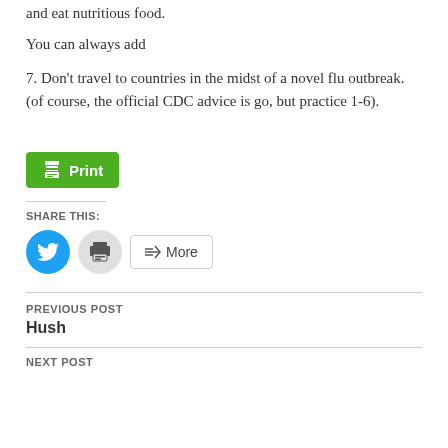and eat nutritious food.
You can always add
7. Don't travel to countries in the midst of a novel flu outbreak. (of course, the official CDC advice is go, but practice 1-6).
[Figure (other): Green Print button with printer icon]
SHARE THIS:
[Figure (other): Social share buttons: Twitter (blue circle), Print (grey circle), More (outlined button with share icon)]
PREVIOUS POST
Hush
NEXT POST